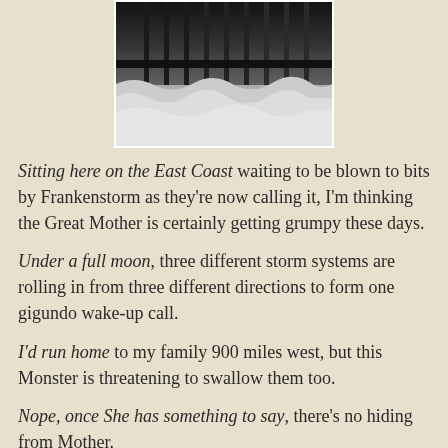[Figure (photo): Black and white photograph of a pier with large waves crashing beneath it during a storm]
Sitting here on the East Coast waiting to be blown to bits by Frankenstorm as they're now calling it, I'm thinking the Great Mother is certainly getting grumpy these days.
Under a full moon, three different storm systems are rolling in from three different directions to form one gigundo wake-up call.
I'd run home to my family 900 miles west, but this Monster is threatening to swallow them too.
Nope, once She has something to say, there's no hiding from Mother.
Some are saying Frankenstorm is Mother Earth's revenge for Obama/Romney's snubbing Her during the Presidential campaign. Neither candidate has mentioned global warming